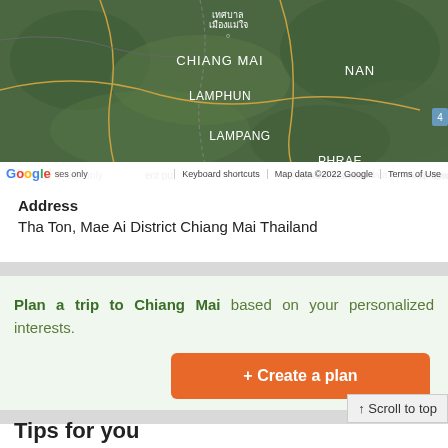[Figure (map): Google Map showing northern Thailand region with Chiang Mai, Lamphun, Lampang, Phrae, Nan labels. Green terrain map. Google logo and attribution bar visible at bottom.]
Address
Tha Ton, Mae Ai District Chiang Mai Thailand
Plan a trip to Chiang Mai based on your personalized interests.
+ Create a plan
↑ Scroll to top
Tips for you